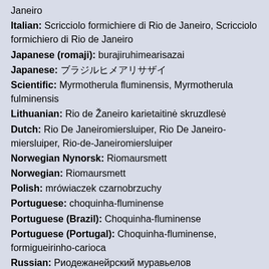Janeiro
Italian: Scricciolo formichiere di Rio de Janeiro, Scricciolo formichiero di Rio de Janeiro
Japanese (romaji): burajiruhimearisazai
Japanese: ブラジルヒメアリサザイ
Scientific: Myrmotherula fluminensis, Myrmotherula fulminensis
Lithuanian: Rio de Žaneiro karietaitinė skruzdlesė
Dutch: Rio De Janeiromiersluiper, Rio De Janeiro-miersluiper, Rio-de-Janeiromiersluiper
Norwegian Nynorsk: Riomaursmett
Norwegian: Riomaursmett
Polish: mrówia czek czarnobrzuchy
Portuguese: choquinha-fluminense
Portuguese (Brazil): Choquinha-fluminense
Portuguese (Portugal): Choquinha-fluminense, formigueirinho-carioca
Russian: Риодежанейрский муравьелов
Slovak: pralesníček čiernoprsý